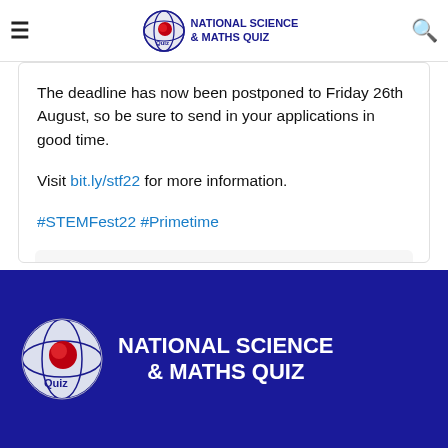National Science & Maths Quiz
The deadline has now been postponed to Friday 26th August, so be sure to send in your applications in good time.

Visit bit.ly/stf22 for more information.

#STEMFest22 #Primetime
[Figure (logo): National Science & Maths Quiz logo with circular globe icon and text in blue footer]